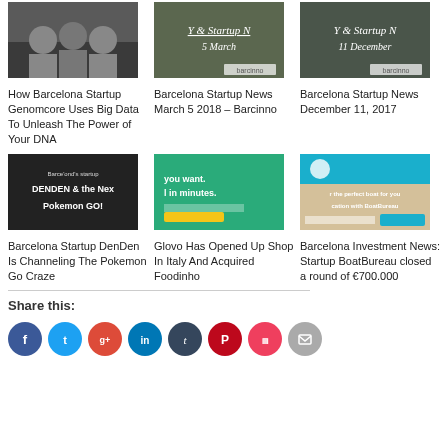[Figure (photo): Three men sitting on a couch - Genomcore startup team photo]
[Figure (photo): Barcinno startup event image with text '5 March' and barcinno logo]
[Figure (photo): Barcinno startup event image with text '11 December' and barcinno logo]
How Barcelona Startup Genomcore Uses Big Data To Unleash The Power of Your DNA
Barcelona Startup News March 5 2018 – Barcinno
Barcelona Startup News December 11, 2017
[Figure (photo): DenDen startup app screenshot with text 'Barcelona's startup DENDEN & the Next Pokemon GO!']
[Figure (photo): Glovo app screenshot with text 'you want. l in minutes.']
[Figure (photo): BoatBureau website screenshot with text 'r the perfect boat for you cation with BoatBureau']
Barcelona Startup DenDen Is Channeling The Pokemon Go Craze
Glovo Has Opened Up Shop In Italy And Acquired Foodinho
Barcelona Investment News: Startup BoatBureau closed a round of €700.000
Share this:
Facebook
Twitter
Google+
LinkedIn
Tumblr
Pinterest
Pocket
Email